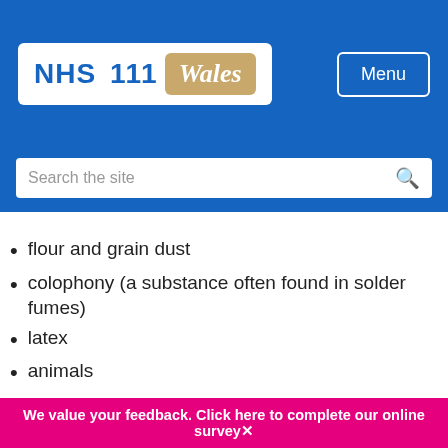[Figure (logo): NHS 111 Wales logo on blue header background with Menu button]
flour and grain dust
colophony (a substance often found in solder fumes)
latex
animals
wood dust
Paint sprayers, bakers, pastry makers, nurses, chemical workers, animal handlers, timber workers, welders and food processing workers are all examples of people who may have a higher risk of being exposed to these substances.
We value your feedback. Click here to complete our online survey✕